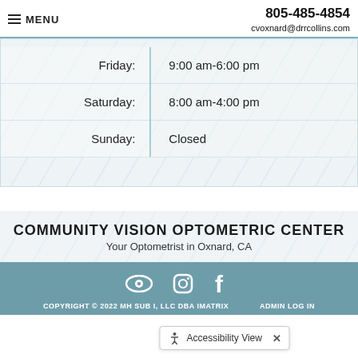MENU | 805-485-4854 | cvoxnard@drrcollins.com
| Day | Hours |
| --- | --- |
| Friday: | 9:00 am-6:00 pm |
| Saturday: | 8:00 am-4:00 pm |
| Sunday: | Closed |
COMMUNITY VISION OPTOMETRIC CENTER
Your Optometrist in Oxnard, CA
COPYRIGHT © 2022 MH SUB I, LLC DBA IMATRIX | ADMIN LOG IN